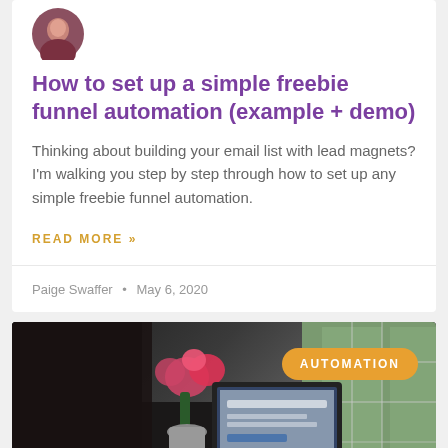[Figure (photo): Circular avatar photo of a woman with dark hair]
How to set up a simple freebie funnel automation (example + demo)
Thinking about building your email list with lead magnets? I'm walking you step by step through how to set up any simple freebie funnel automation.
READ MORE »
Paige Swaffer • May 6, 2020
[Figure (photo): Photo of a desk with a laptop, flowers, and a window in the background, with an AUTOMATION badge overlay]